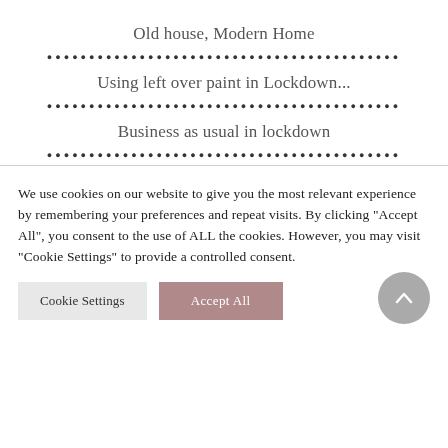Old house, Modern Home
Using left over paint in Lockdown...
Business as usual in lockdown
We use cookies on our website to give you the most relevant experience by remembering your preferences and repeat visits. By clicking “Accept All”, you consent to the use of ALL the cookies. However, you may visit “Cookie Settings” to provide a controlled consent.
Cookie Settings | Accept All